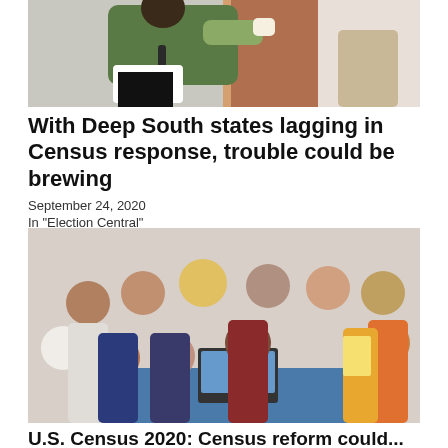[Figure (photo): A Census worker in a green jacket and gloves knocking on or opening a door, wearing a Census bag]
With Deep South states lagging in Census response, trouble could be brewing
September 24, 2020
In "Election Central"
[Figure (photo): A large group of people gathered around a table with a laptop, appearing to be at a community or registration event]
U.S. Census 2020: Census reform could...